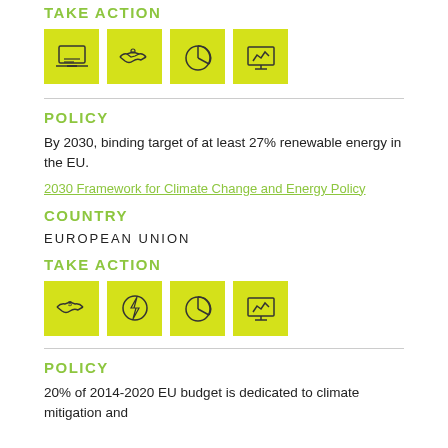TAKE ACTION
[Figure (infographic): Four yellow icon boxes: laptop/computer, handshake, pie chart, presentation board with chart]
POLICY
By 2030, binding target of at least 27% renewable energy in the EU.
2030 Framework for Climate Change and Energy Policy
COUNTRY
EUROPEAN UNION
TAKE ACTION
[Figure (infographic): Four yellow icon boxes: handshake, lightning/energy, pie chart, presentation board with chart]
POLICY
20% of 2014-2020 EU budget is dedicated to climate mitigation and